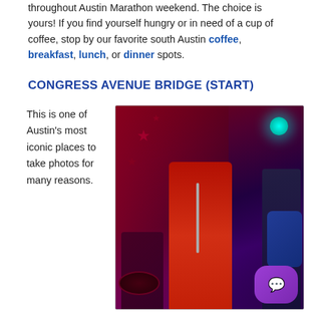throughout Austin Marathon weekend. The choice is yours! If you find yourself hungry or in need of a cup of coffee, stop by our favorite south Austin coffee, breakfast, lunch, or dinner spots.
CONGRESS AVENUE BRIDGE (START)
This is one of Austin's most iconic places to take photos for many reasons.
[Figure (photo): A woman in a red outfit singing into a microphone on a stage with a purple/red lit background, a drummer visible behind her, and a guitarist to the right. A purple chat button overlays the bottom right corner.]